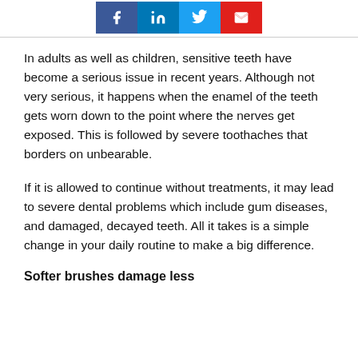[Figure (other): Social media share buttons: Facebook (blue), LinkedIn (dark blue), Twitter (light blue), Email (red), each containing white icons]
In adults as well as children, sensitive teeth have become a serious issue in recent years. Although not very serious, it happens when the enamel of the teeth gets worn down to the point where the nerves get exposed. This is followed by severe toothaches that borders on unbearable.
If it is allowed to continue without treatments, it may lead to severe dental problems which include gum diseases, and damaged, decayed teeth. All it takes is a simple change in your daily routine to make a big difference.
Softer brushes damage less